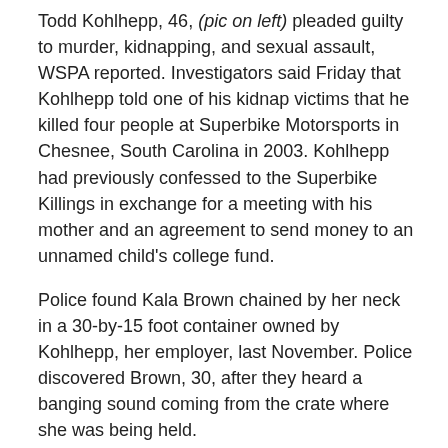Todd Kohlhepp, 46, (pic on left) pleaded guilty to murder, kidnapping, and sexual assault, WSPA reported. Investigators said Friday that Kohlhepp told one of his kidnap victims that he killed four people at Superbike Motorsports in Chesnee, South Carolina in 2003. Kohlhepp had previously confessed to the Superbike Killings in exchange for a meeting with his mother and an agreement to send money to an unnamed child's college fund.
Police found Kala Brown chained by her neck in a 30-by-15 foot container owned by Kohlhepp, her employer, last November. Police discovered Brown, 30, after they heard a banging sound coming from the crate where she was being held.